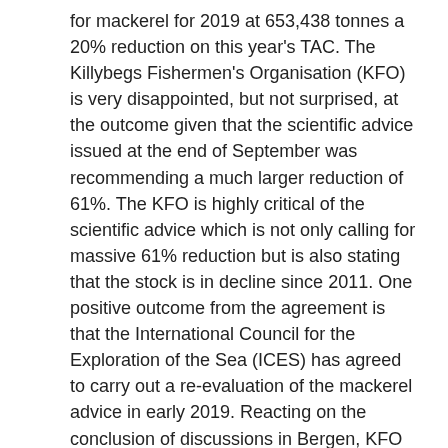for mackerel for 2019 at 653,438 tonnes a 20% reduction on this year's TAC. The Killybegs Fishermen's Organisation (KFO) is very disappointed, but not surprised, at the outcome given that the scientific advice issued at the end of September was recommending a much larger reduction of 61%. The KFO is highly critical of the scientific advice which is not only calling for massive 61% reduction but is also stating that the stock is in decline since 2011. One positive outcome from the agreement is that the International Council for the Exploration of the Sea (ICES) has agreed to carry out a re-evaluation of the mackerel advice in early 2019. Reacting on the conclusion of discussions in Bergen, KFO CEO, Seán O'Donoghue commented: "I am obviously very disappointed with the reduction but under the circumstances given the large reduction of 61 % advised by ICES, the hands of the three parties were tied into a reduction. ~At least, they decided on a common-sense approach to take the reduction over a